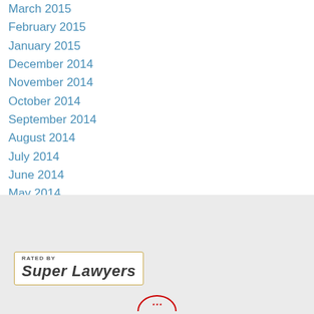March 2015
February 2015
January 2015
December 2014
November 2014
October 2014
September 2014
August 2014
July 2014
June 2014
May 2014
March 2014
[Figure (logo): Rated by Super Lawyers badge with gold border]
[Figure (logo): Circular logo partially visible at bottom of page]